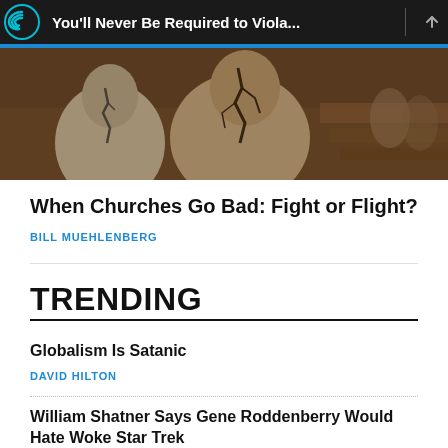You'll Never Be Required to Viola...
[Figure (photo): Two people sitting in church pews with a cracked stone or ceramic figure in the foreground]
When Churches Go Bad: Fight or Flight?
BILL MUEHLENBERG
TRENDING
Globalism Is Satanic
DAVID HILTON
William Shatner Says Gene Roddenberry Would Hate Woke Star Trek
ROD LAMPARD